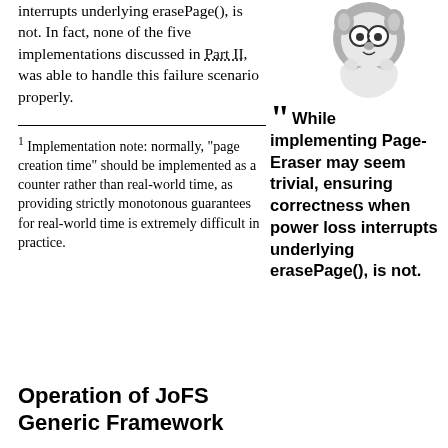interrupts underlying erasePage(), is not. In fact, none of the five implementations discussed in Part II, was able to handle this failure scenario properly.
[Figure (illustration): Cartoon animal character (cat/rabbit) with glasses, in a thinking pose with hands near face, inside a grey circle]
"While implementing Page-Eraser may seem trivial, ensuring correctness when power loss interrupts underlying erasePage(), is not.
1 Implementation note: normally, "page creation time" should be implemented as a counter rather than real-world time, as providing strictly monotonous guarantees for real-world time is extremely difficult in practice.
Operation of JoFS Generic Framework